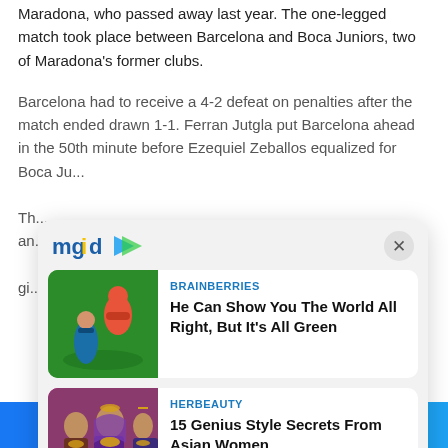Maradona, who passed away last year. The one-legged match took place between Barcelona and Boca Juniors, two of Maradona's former clubs.
Barcelona had to receive a 4-2 defeat on penalties after the match ended drawn 1-1. Ferran Jutgla put Barcelona ahead in the 50th minute before Ezequiel Zeballos equalized for Boca Ju...
[Figure (screenshot): MGID sponsored content widget with two article cards. First card: BRAINBERRIES - 'He Can Show You The World All Right, But It's All Green' with Aladdin illustration. Second card: HERBEAUTY - '15 Genius Style Secrets From Asian Women' with photo of women in Indian bridal attire.]
Facebook share | Twitter share